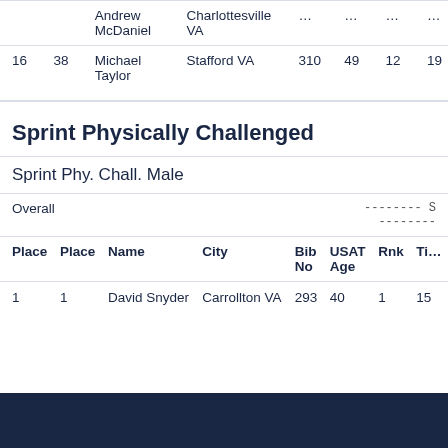| Place | Place | Name | City | Bib No | USAT Age | Rnk | Ti... |
| --- | --- | --- | --- | --- | --- | --- | --- |
|  |  | Andrew McDaniel | Charlottesville VA | ... | ... | ... | ... |
| 16 | 38 | Michael Taylor | Stafford VA | 310 | 49 | 12 | 19 |
Sprint Physically Challenged
Sprint Phy. Chall. Male
Overall -------- S --------
| Place | Place | Name | City | Bib No | USAT Age | Rnk | Ti... |
| --- | --- | --- | --- | --- | --- | --- | --- |
| 1 | 1 | David Snyder | Carrollton VA | 293 | 40 | 1 | 15 |